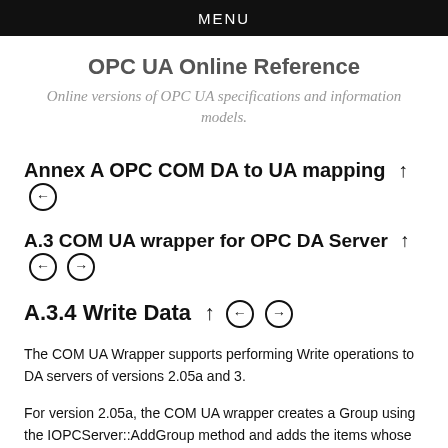MENU
OPC UA Online Reference
Online versions of OPC UA specifications and information models.
Annex A OPC COM DA to UA mapping ↑ ←
A.3 COM UA wrapper for OPC DA Server ↑ ← →
A.3.4 Write Data ↑ ← →
The COM UA Wrapper supports performing Write operations to DA servers of versions 2.05a and 3.
For version 2.05a, the COM UA wrapper creates a Group using the IOPCServer::AddGroup method and adds the items whose data is to be written using IOPCItemMgmt::AddItems method. The value is